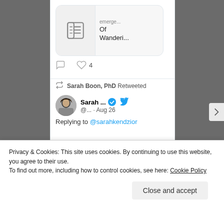[Figure (screenshot): Twitter/social media feed screenshot showing a retweet by Sarah Boon PhD, with an article link card at top showing 'emerge... Of Wanderi...', like/comment icons with 4 likes, and a retweet section showing Sarah... @... Aug 26 replying to @sarahkendzior, with a book image strip reading 'on the plot. -p 6']
Privacy & Cookies: This site uses cookies. By continuing to use this website, you agree to their use.
To find out more, including how to control cookies, see here: Cookie Policy
Close and accept